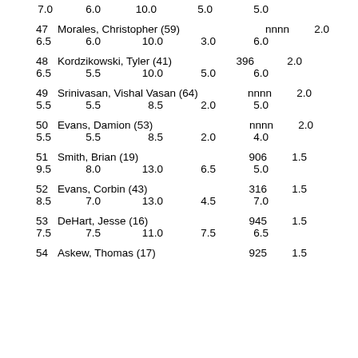7.0   6.0   10.0   5.0   5.0
47   Morales, Christopher (59)   nnnn   2.0
6.5   6.0   10.0   3.0   6.0
48   Kordzikowski, Tyler (41)396   2.0
6.5   5.5   10.0   5.0   6.0
49   Srinivasan, Vishal Vasan (64)   nnnn   2.0
5.5   5.5   8.5   2.0   5.0
50   Evans, Damion (53)   nnnn   2.0
5.5   5.5   8.5   2.0   4.0
51   Smith, Brian (19)   906   1.5
9.5   8.0   13.0   6.5   5.0
52   Evans, Corbin (43)   316   1.5
8.5   7.0   13.0   4.5   7.0
53   DeHart, Jesse (16)   945   1.5
7.5   7.5   11.0   7.5   6.5
54   Askew, Thomas (17)   925   1.5